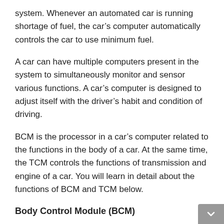system. Whenever an automated car is running shortage of fuel, the car’s computer automatically controls the car to use minimum fuel.
A car can have multiple computers present in the system to simultaneously monitor and sensor various functions. A car’s computer is designed to adjust itself with the driver’s habit and condition of driving.
BCM is the processor in a car’s computer related to the functions in the body of a car. At the same time, the TCM controls the functions of transmission and engine of a car. You will learn in detail about the functions of BCM and TCM below.
Body Control Module (BCM)
The Body Control Module (BCM) is the system of a car that monitors and functions the automated features related to the car’s body. The functions of BCM are: